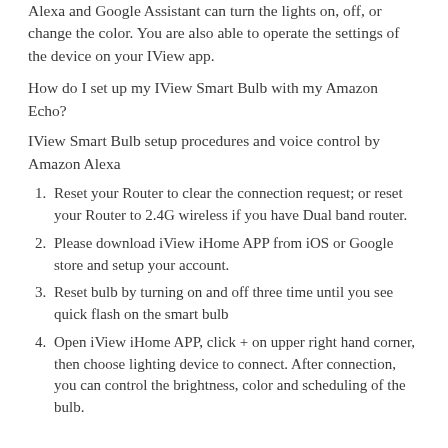Alexa and Google Assistant can turn the lights on, off, or change the color. You are also able to operate the settings of the device on your IView app.
How do I set up my IView Smart Bulb with my Amazon Echo?
IView Smart Bulb setup procedures and voice control by Amazon Alexa
Reset your Router to clear the connection request; or reset your Router to 2.4G wireless if you have Dual band router.
Please download iView iHome APP from iOS or Google store and setup your account.
Reset bulb by turning on and off three time until you see quick flash on the smart bulb
Open iView iHome APP, click + on upper right hand corner, then choose lighting device to connect. After connection, you can control the brightness, color and scheduling of the bulb.